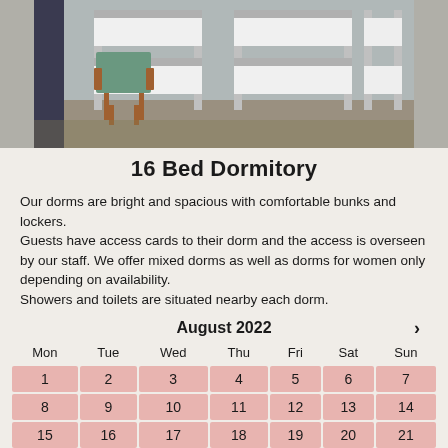[Figure (photo): Interior photo of a dormitory room showing bunk beds with white bedding and a green upholstered chair with wooden frame]
16 Bed Dormitory
Our dorms are bright and spacious with comfortable bunks and lockers.
Guests have access cards to their dorm and the access is overseen by our staff. We offer mixed dorms as well as dorms for women only depending on availability.
Showers and toilets are situated nearby each dorm.
| Mon | Tue | Wed | Thu | Fri | Sat | Sun |
| --- | --- | --- | --- | --- | --- | --- |
| 1 | 2 | 3 | 4 | 5 | 6 | 7 |
| 8 | 9 | 10 | 11 | 12 | 13 | 14 |
| 15 | 16 | 17 | 18 | 19 | 20 | 21 |